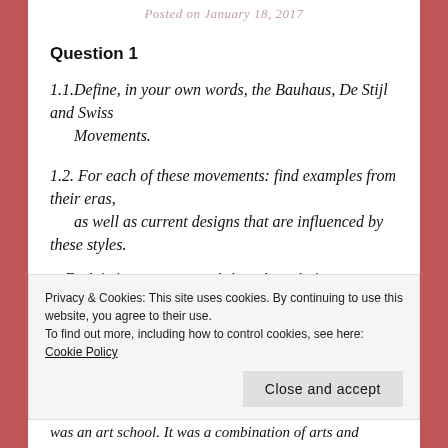Posted on January 18, 2017
Question 1
1.1.Define, in your own words, the Bauhaus, De Stijl and Swiss Movements.
1.2. For each of these movements: find examples from their eras, as well as current designs that are influenced by these styles.
Explain in your own words how these designs were
Privacy & Cookies: This site uses cookies. By continuing to use this website, you agree to their use.
To find out more, including how to control cookies, see here: Cookie Policy
Close and accept
was an art school. It was a combination of arts and